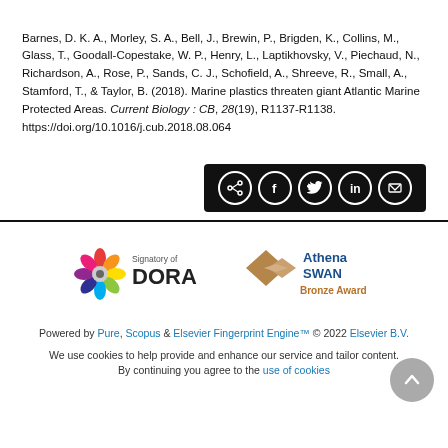Barnes, D. K. A., Morley, S. A., Bell, J., Brewin, P., Brigden, K., Collins, M., Glass, T., Goodall-Copestake, W. P., Henry, L., Laptikhovsky, V., Piechaud, N., Richardson, A., Rose, P., Sands, C. J., Schofield, A., Shreeve, R., Small, A., Stamford, T., & Taylor, B. (2018). Marine plastics threaten giant Atlantic Marine Protected Areas. Current Biology : CB, 28(19), R1137-R1138. https://doi.org/10.1016/j.cub.2018.08.064
[Figure (other): Social share bar with icons for share, Facebook, Twitter, LinkedIn, and email on black background]
[Figure (logo): Signatory of DORA logo with colorful star/flower icon and DORA text]
[Figure (logo): Athena SWAN Bronze Award logo with brown diamond shapes]
Powered by Pure, Scopus & Elsevier Fingerprint Engine™ © 2022 Elsevier B.V.
We use cookies to help provide and enhance our service and tailor content. By continuing you agree to the use of cookies